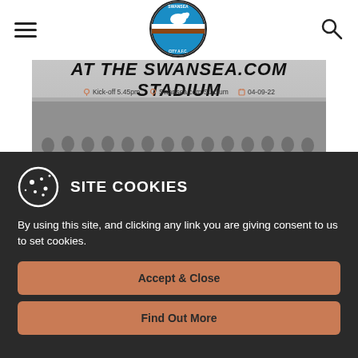[Figure (logo): Swansea City AFC circular logo with swan and blue/white/brown colors]
[Figure (screenshot): Banner showing 'AT THE SWANSEA.COM STADIUM' with match details: Kick-off 5.45pm, Swansea.com Stadium, 04-09-22, and a team photo of women's football squad]
SITE COOKIES
By using this site, and clicking any link you are giving consent to us to set cookies.
Accept & Close
Find Out More